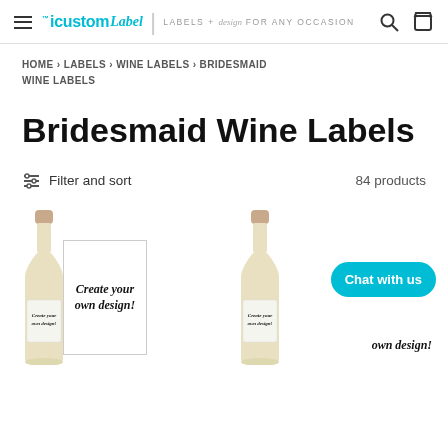iCustomLabel | LABELS + design FOR ANY OCCASION
HOME › LABELS › WINE LABELS › BRIDESMAID WINE LABELS
Bridesmaid Wine Labels
Filter and sort   84 products
[Figure (screenshot): Two wine bottle product listings showing 'Create your own design!' label cards next to white wine bottles, with a 'Chat with us' teal button overlay in the bottom right.]